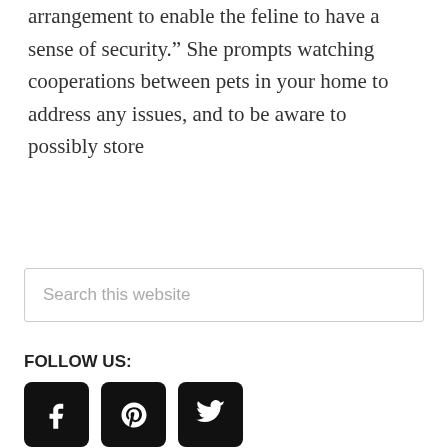arrangement to enable the feline to have a sense of security.” She prompts watching cooperations between pets in your home to address any issues, and to be aware to possibly store
Search this website
FOLLOW US:
[Figure (other): Three social media icon buttons: Facebook (f), Pinterest (P), Twitter (bird), all black rounded square buttons]